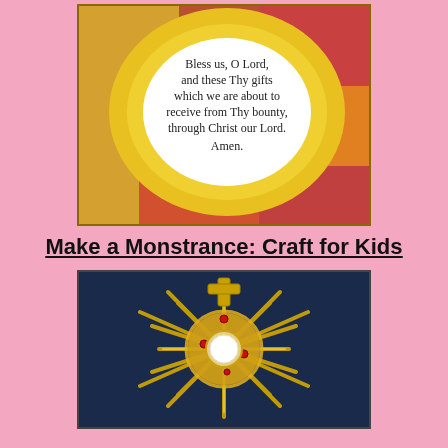[Figure (photo): A yellow paper plate with a prayer text printed on it: 'Bless us, O Lord, and these Thy gifts which we are about to receive from Thy bounty, through Christ our Lord. Amen.']
Make a Monstrance: Craft for Kids
[Figure (photo): A handmade monstrance craft made from gold glitter pipe cleaners arranged in a sunburst pattern around a central circular white disc, with small red jewel decorations, placed on a dark navy background.]